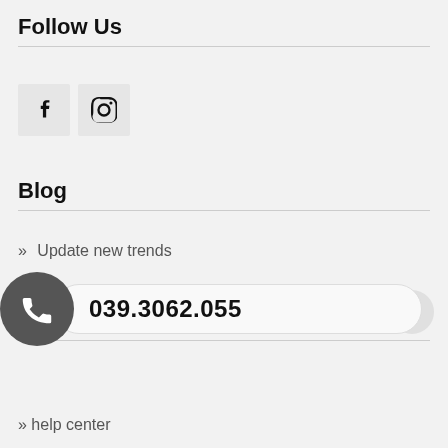Follow Us
[Figure (illustration): Two social media icon buttons: Facebook (f) and Instagram (camera) icons in light grey square boxes]
Blog
» Update new trends
Help
[Figure (infographic): Phone call button: dark circle with phone icon and pill-shaped bar showing phone number 039.3062.055, with scroll-to-top arrow button on right]
» help center